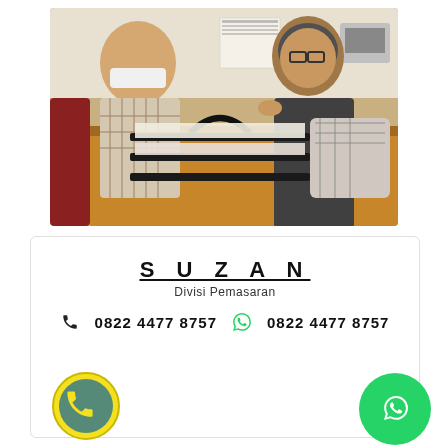[Figure (photo): Two women at an office desk. One wearing a white mask and plaid top, the other wearing glasses and a hijab, smiling and pointing. Documents and a black document tray on the desk.]
SUZAN
Divisi Pemasaran
0822 4477 8757   0822 4477 8757
[Figure (illustration): Yellow circle phone call button icon (bottom left)]
[Figure (illustration): Green WhatsApp button icon (bottom right)]